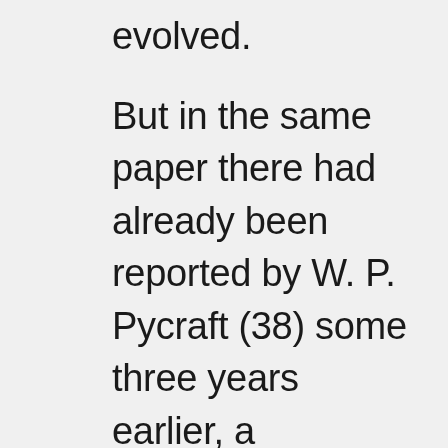evolved.
But in the same paper there had already been reported by W. P. Pycraft (38) some three years earlier, a remarkable series of finds in South America of three skulls belonging to quite unrelated animals in which a particular bone structure on the lower jaw had assumed substantially the same striking form entirely in response to diet and having nothing to do with common descent. These three skulls belonged to marsupials and at the time were described